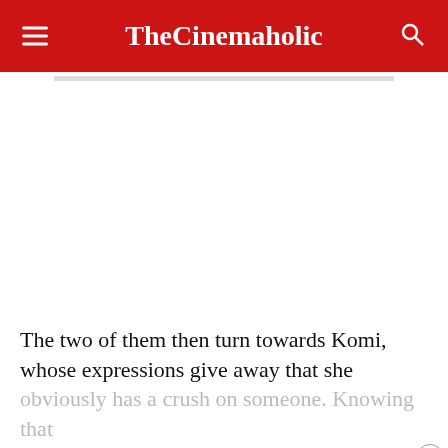TheCinemaholic
The two of them then turn towards Komi, whose expressions give away that she obviously has a crush on someone. Knowing that [she struggles with a] communication disorder, they make things
[Figure (screenshot): Bloomingdales advertisement banner: logo, 'View Today's Top Deals!' text, image of woman in hat, and 'SHOP NOW >' button]